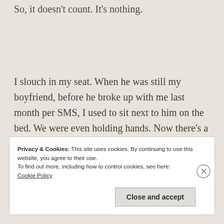So, it doesn't count. It's nothing.
I slouch in my seat. When he was still my boyfriend, before he broke up with me last month per SMS, I used to sit next to him on the bed. We were even holding hands. Now there's a sense of despair about him.
Privacy & Cookies: This site uses cookies. By continuing to use this website, you agree to their use.
To find out more, including how to control cookies, see here: Cookie Policy
Close and accept